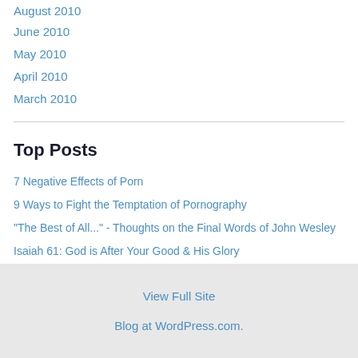August 2010
June 2010
May 2010
April 2010
March 2010
Top Posts
7 Negative Effects of Porn
9 Ways to Fight the Temptation of Pornography
"The Best of All..." - Thoughts on the Final Words of John Wesley
Isaiah 61: God is After Your Good & His Glory
7 Evils of a Grumbling Spirit
View Full Site
Blog at WordPress.com.